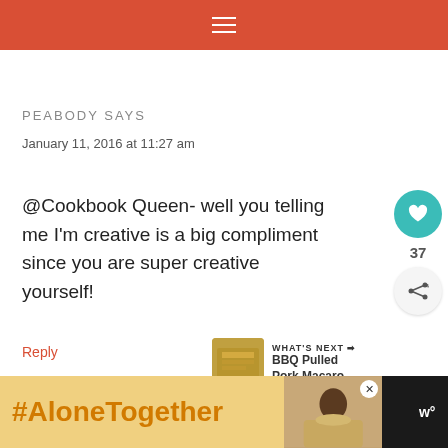☰ (navigation menu icon)
PEABODY SAYS
January 11, 2016 at 11:27 am
@Cookbook Queen- well you telling me I'm creative is a big compliment since you are super creative yourself!
Reply
[Figure (screenshot): What's Next widget showing BBQ Pulled Pork Macaro... with thumbnail]
[Figure (screenshot): Bottom advertisement banner showing #AloneTogether with person photo and logo]